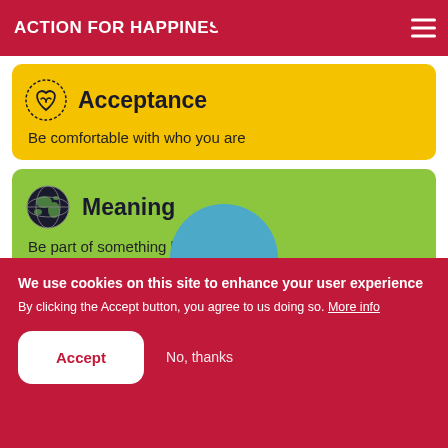ACTION FOR HAPPINESS
Acceptance
Be comfortable with who you are
Meaning
Be part of something bigger
We use cookies on this site to enhance your user experience
By clicking the Accept button, you agree to us doing so. More info
Accept
No, thanks